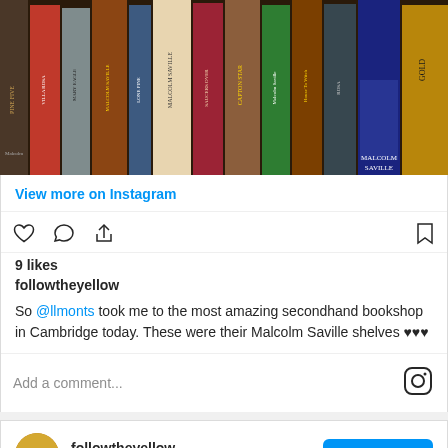[Figure (photo): Bookshelf with Malcolm Saville books lined up, spines visible in various colors]
View more on Instagram
[Figure (infographic): Instagram action icons: heart, comment, share on left; bookmark on right]
9 likes
followtheyellow
So @llmonts took me to the most amazing secondhand bookshop in Cambridge today. These were their Malcolm Saville shelves ♥♥♥
Add a comment...
[Figure (logo): Instagram camera icon logo]
followtheyellow
2,284 followers
View profile